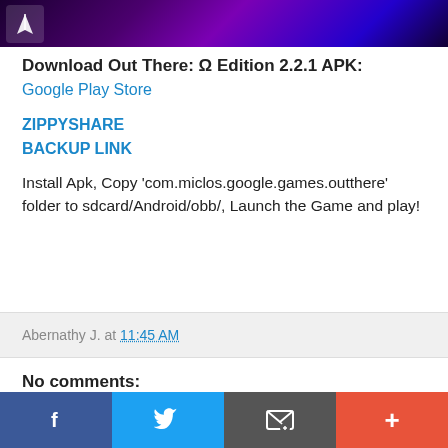[Figure (screenshot): App banner image with purple/dark space-themed background and a small rocket/app icon on the left]
Download Out There: Ω Edition 2.2.1 APK:
Google Play Store
ZIPPYSHARE
BACKUP LINK
Install Apk, Copy 'com.miclos.google.games.outthere' folder to sdcard/Android/obb/, Launch the Game and play!
Abernathy J. at 11:45 AM
No comments:
Post a Comment
[Figure (infographic): Bottom social sharing bar with four buttons: Facebook (blue), Twitter (light blue), Email (dark gray), and Plus/More (orange-red)]